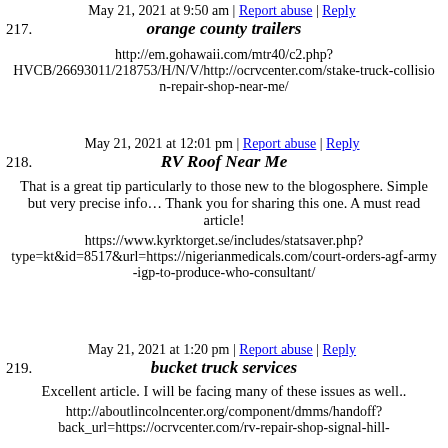May 21, 2021 at 9:50 am | Report abuse | Reply
217.
orange county trailers
http://em.gohawaii.com/mtr40/c2.php?HVCB/26693011/218753/H/N/V/http://ocrvcenter.com/stake-truck-collision-repair-shop-near-me/
May 21, 2021 at 12:01 pm | Report abuse | Reply
218.
RV Roof Near Me
That is a great tip particularly to those new to the blogosphere. Simple but very precise info… Thank you for sharing this one. A must read article!
https://www.kyrktorget.se/includes/statsaver.php?type=kt&id=8517&url=https://nigerianmedicals.com/court-orders-agf-army-igp-to-produce-who-consultant/
May 21, 2021 at 1:20 pm | Report abuse | Reply
219.
bucket truck services
Excellent article. I will be facing many of these issues as well..
http://aboutlincolncenter.org/component/dmms/handoff?back_url=https://ocrvcenter.com/rv-repair-shop-signal-hill-california/